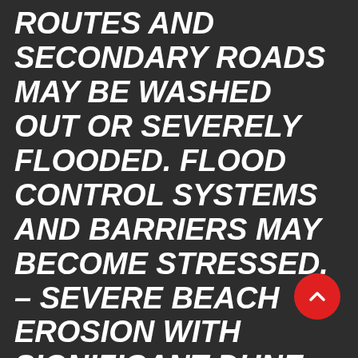ROUTES AND SECONDARY ROADS MAY BE WASHED OUT OR SEVERELY FLOODED. FLOOD CONTROL SYSTEMS AND BARRIERS MAY BECOME STRESSED. – SEVERE BEACH EROSION WITH SIGNIFICANT DUNE LOSS. – MAJOR DAMAGE TO MARINAS, DOCKS, BOARDWALKS, PIERS, AND OTHER COASTAL STRUCTURES. MANY SMAL...